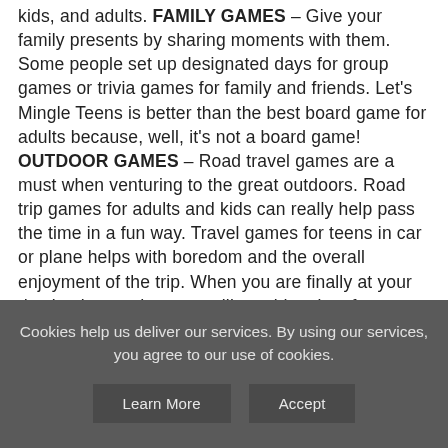kids, and adults. FAMILY GAMES – Give your family presents by sharing moments with them. Some people set up designated days for group games or trivia games for family and friends. Let's Mingle Teens is better than the best board game for adults because, well, it's not a board game! OUTDOOR GAMES – Road travel games are a must when venturing to the great outdoors. Road trip games for adults and kids can really help pass the time in a fun way. Travel games for teens in car or plane helps with boredom and the overall enjoyment of the trip. When you are finally at your destination card games still provide a lot of entertainment and group engagement. COUPLES GAMES – If you are looking for date night games, Let's Mingle Teens is a chill choice to get to know someone while having fun and vibing together. Who knows, this card
Cookies help us deliver our services. By using our services, you agree to our use of cookies.